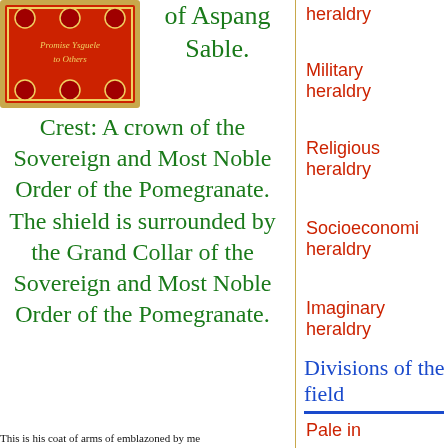[Figure (illustration): Book cover image with red and gold decorative border, pomegranate motifs, and text 'Promise Ysguele to Others']
of Aspang Sable.
Crest: A crown of the Sovereign and Most Noble Order of the Pomegranate. The shield is surrounded by the Grand Collar of the Sovereign and Most Noble Order of the Pomegranate.
This is his coat of arms of emblazoned by me
heraldry
Military heraldry
Religious heraldry
Socioeconomic heraldry
Imaginary heraldry
Divisions of the field
Pale in